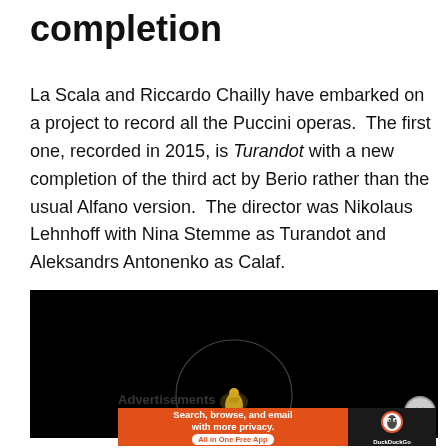completion
La Scala and Riccardo Chailly have embarked on a project to record all the Puccini operas.  The first one, recorded in 2015, is Turandot with a new completion of the third act by Berio rather than the usual Alfano version.  The director was Nikolaus Lehnhoff with Nina Stemme as Turandot and Aleksandrs Antonenko as Calaf.
[Figure (photo): Dark stage photo showing a small golden figure illuminated in a circular light against a black background, from a Turandot opera production.]
Advertisements
[Figure (screenshot): DuckDuckGo advertisement banner with orange background reading 'Search, browse, and email with more privacy. All in One Free App' with DuckDuckGo logo on dark right panel.]